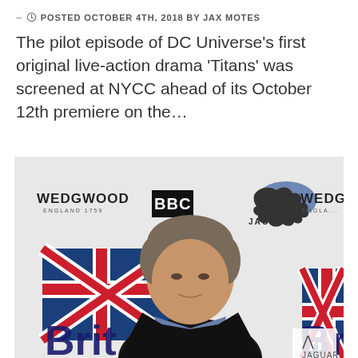POSTED OCTOBER 4TH, 2018 BY JAX MOTES
The pilot episode of DC Universe's first original live-action drama 'Titans' was screened at NYCC ahead of its October 12th premiere on the...
[Figure (photo): Man in black jacket and blue shirt standing in front of a backdrop showing BBC, Wedgwood, Jaguar logos and British flag 'Brit' branding.]